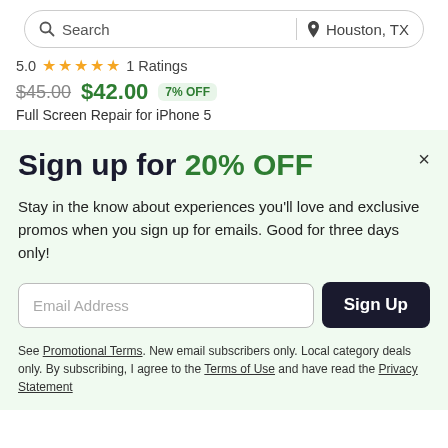[Figure (screenshot): Search bar with search icon and text 'Search', a vertical divider, a location pin icon and 'Houston, TX']
5.0 ★★★★★ 1 Ratings
$45.00 $42.00 7% OFF
Full Screen Repair for iPhone 5
Sign up for 20% OFF
Stay in the know about experiences you'll love and exclusive promos when you sign up for emails. Good for three days only!
Email Address
Sign Up
See Promotional Terms. New email subscribers only. Local category deals only. By subscribing, I agree to the Terms of Use and have read the Privacy Statement